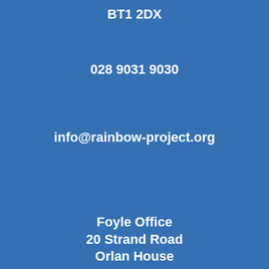BT1 2DX
028 9031 9030
info@rainbow-project.org
Foyle Office
20 Strand Road
Orlan House